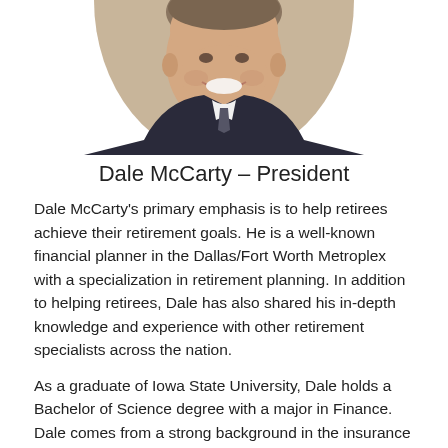[Figure (photo): Headshot photo of Dale McCarty, a man in a suit, smiling, cropped in a circular/oval shape at the top of the page]
Dale McCarty – President
Dale McCarty's primary emphasis is to help retirees achieve their retirement goals. He is a well-known financial planner in the Dallas/Fort Worth Metroplex with a specialization in retirement planning. In addition to helping retirees, Dale has also shared his in-depth knowledge and experience with other retirement specialists across the nation.
As a graduate of Iowa State University, Dale holds a Bachelor of Science degree with a major in Finance. Dale comes from a strong background in the insurance